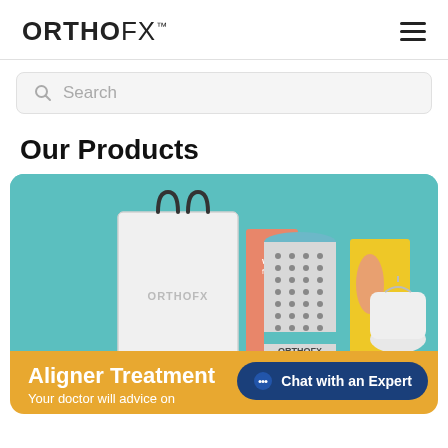ORTHOFX™
Search
Our Products
[Figure (photo): OrthoFX product lineup on teal background: shopping bag with ORTHOFX logo, cylindrical aligner case with ORTHOFX branding, orange/peach box, yellow box, and white drawstring pouch]
Aligner Treatment
Your doctor will advice on
Chat with an Expert